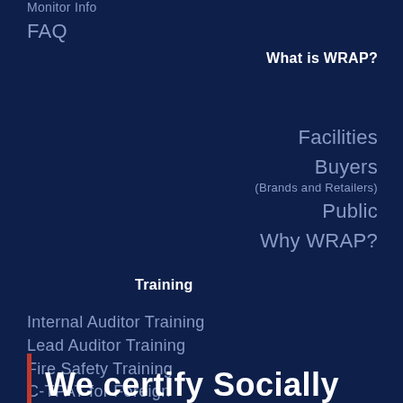Monitor Info
FAQ
What is WRAP?
Facilities
Buyers
(Brands and Retailers)
Public
Why WRAP?
Training
Internal Auditor Training
Lead Auditor Training
Fire Safety Training
C-TPAT for Foreign Manufacturers
We certify Socially